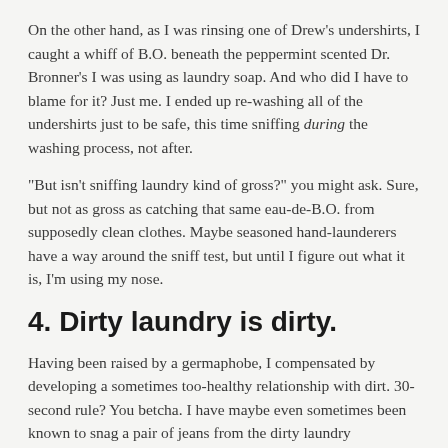On the other hand, as I was rinsing one of Drew's undershirts, I caught a whiff of B.O. beneath the peppermint scented Dr. Bronner's I was using as laundry soap. And who did I have to blame for it? Just me. I ended up re-washing all of the undershirts just to be safe, this time sniffing during the washing process, not after.
“But isn’t sniffing laundry kind of gross?” you might ask. Sure, but not as gross as catching that same eau-de-B.O. from supposedly clean clothes. Maybe seasoned hand-launderers have a way around the sniff test, but until I figure out what it is, I’m using my nose.
4. Dirty laundry is dirty.
Having been raised by a germaphobe, I compensated by developing a sometimes too-healthy relationship with dirt. 30-second rule? You betcha. I have maybe even sometimes been known to snag a pair of jeans from the dirty laundry